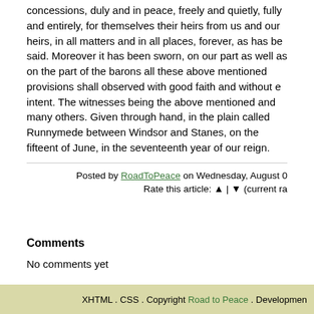concessions, duly and in peace, freely and quietly, fully and entirely, for themselves their heirs from us and our heirs, in all matters and in all places, forever, as has be said. Moreover it has been sworn, on our part as well as on the part of the barons all these above mentioned provisions shall observed with good faith and without e intent. The witnesses being the above mentioned and many others. Given through hand, in the plain called Runnymede between Windsor and Stanes, on the fifteent of June, in the seventeenth year of our reign.
Posted by RoadToPeace on Wednesday, August 0
Rate this article: ▲ | ▼ (current ra
Comments
No comments yet
To be able to post comments, please register on the site.
XHTML . CSS . Copyright Road to Peace . Developmen